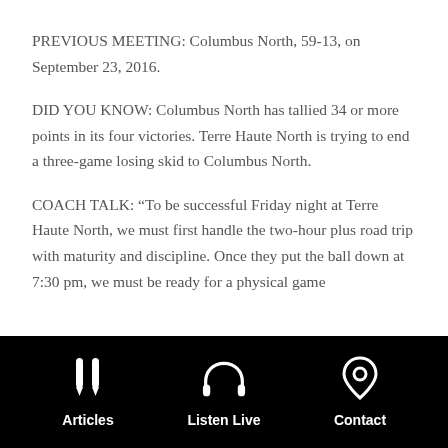PREVIOUS MEETING: Columbus North, 59-13, on September 23, 2016.
DID YOU KNOW: Columbus North has tallied 34 or more points in its four victories. Terre Haute North is trying to end a three-game losing skid to Columbus North.
COACH TALK: “To be successful Friday night at Terre Haute North, we must first handle the two-hour plus road trip with maturity and discipline. Once they put the ball down at 7:30 pm, we must be ready for a physical game
Articles   Listen Live   Contact